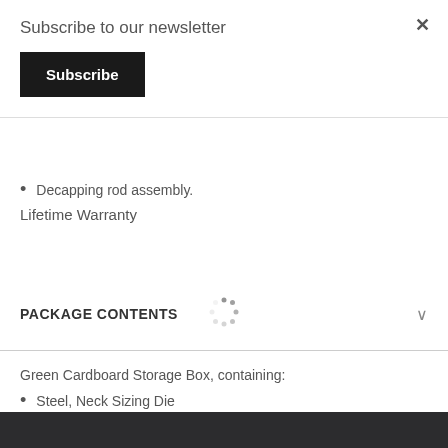Subscribe to our newsletter
Subscribe
Decapping rod assembly.
Lifetime Warranty
PACKAGE CONTENTS
Green Cardboard Storage Box, containing:
Steel, Neck Sizing Die
Printed Instructions